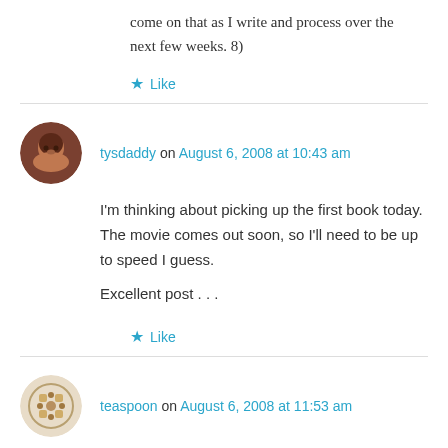come on that as I write and process over the next few weeks. 8)
★ Like
tysdaddy on August 6, 2008 at 10:43 am
I'm thinking about picking up the first book today. The movie comes out soon, so I'll need to be up to speed I guess.

Excellent post . . .
★ Like
teaspoon on August 6, 2008 at 11:53 am